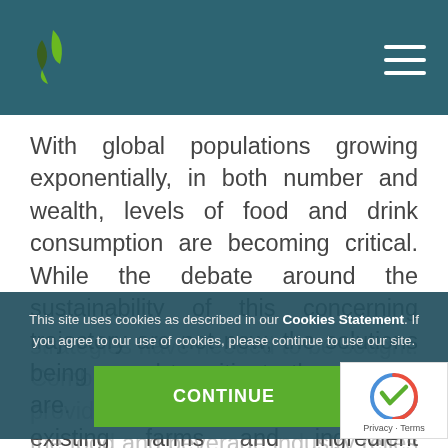With global populations growing exponentially, in both number and wealth, levels of food and drink consumption are becoming critical. While the debate around the sustainability of this concerning trajectory are not new, the solutions being posed to mitigate the problem are. Growing production from existing farms and ingredient producers has limited potential as the environmental costs mount up, so alternative strategies have needed to be sought. Combine health-consciousness at scale. We will see that the food and beverage industry relies heavily on data, analytics, personalisation and innovation, all impacting the health of both people and the environment, to great
This site uses cookies as described in our Cookies Statement. If you agree to our use of cookies, please continue to use our site.
CONTINUE